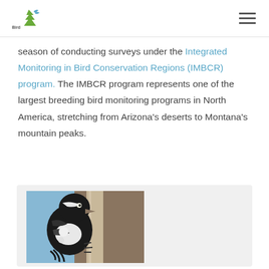Bird Conservancy of the Rockies
season of conducting surveys under the Integrated Monitoring in Bird Conservation Regions (IMBCR) program. The IMBCR program represents one of the largest breeding bird monitoring programs in North America, stretching from Arizona's deserts to Montana's mountain peaks.
[Figure (photo): A black and white woodpecker clinging to the side of a tree trunk, photographed close-up against a blue and rock background.]